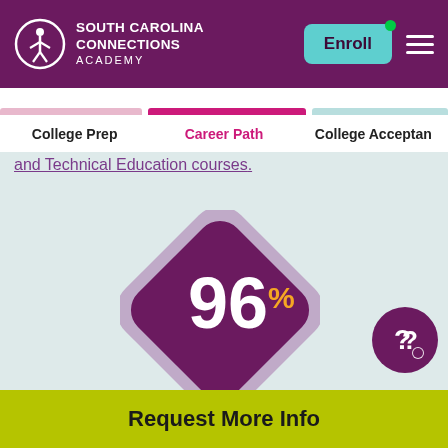SOUTH CAROLINA CONNECTIONS ACADEMY
College Prep   Career Path   College Acceptance
and Technical Education courses.
[Figure (infographic): Purple rotated diamond/square shape with '96%' displayed in white and orange, representing 96% statistic. A purple circle with question mark icon is in the lower right.]
Request More Info